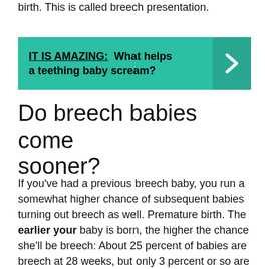birth. This is called breech presentation.
[Figure (infographic): Teal callout box with text 'IT IS AMAZING: What helps a teething baby scream?' and a right-arrow button on the right side.]
Do breech babies come sooner?
If you've had a previous breech baby, you run a somewhat higher chance of subsequent babies turning out breech as well. Premature birth. The earlier your baby is born, the higher the chance she'll be breech: About 25 percent of babies are breech at 28 weeks, but only 3 percent or so are breech at term.